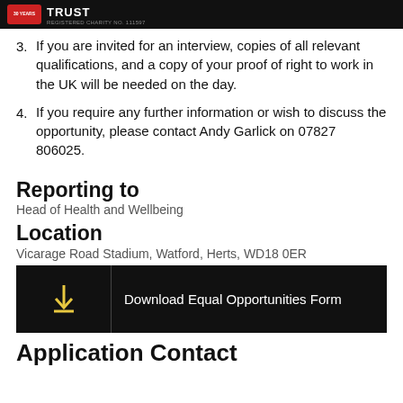TRUST - 30 YEARS - REGISTERED CHARITY NO. 111597
3. If you are invited for an interview, copies of all relevant qualifications, and a copy of your proof of right to work in the UK will be needed on the day.
4. If you require any further information or wish to discuss the opportunity, please contact Andy Garlick on 07827 806025.
Reporting to
Head of Health and Wellbeing
Location
Vicarage Road Stadium, Watford, Herts, WD18 0ER
[Figure (other): Download button with arrow icon and text: Download Equal Opportunities Form]
Application Contact